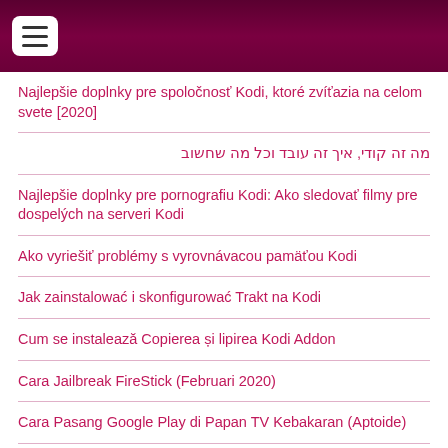Navigation menu header bar
Najlepšie doplnky pre spoločnosť Kodi, ktoré zvíťazia na celom svete [2020]
מה זה קודי, איך זה עובד וכל מה שחשוב
Najlepšie doplnky pre pornografiu Kodi: Ako sledovať filmy pre dospelých na serveri Kodi
Ako vyriešiť problémy s vyrovnávacou pamäťou Kodi
Jak zainstalować i skonfigurować Trakt na Kodi
Cum se instalează Copierea și lipirea Kodi Addon
Cara Jailbreak FireStick (Februari 2020)
Cara Pasang Google Play di Papan TV Kebakaran (Aptoide)
סקירת ExpressVPN: האם זה באמת 'ה-VPN המהיר ביותר בעולם'?
如何FireStick / Kodi上的Tubi TV
코디, 어떻게 설치 하는지, 어떻게 작동 하는지 모든 중요한
Cara Pasang TeaTV pada FireStick